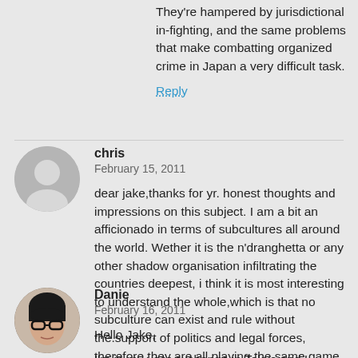They're hampered by jurisdictional in-fighting, and the same problems that make combatting organized crime in Japan a very difficult task.
Reply
chris
February 15, 2011
dear jake,thanks for yr. honest thoughts and impressions on this subject. I am a bit an afficionado in terms of subcultures all around the world. Wether it is the n'dranghetta or any other shadow organisation infiltrating the countries deepest, i think it is most interesting to understand the whole,which is that no subculture can exist and rule without the.support of politics and legal forces, therefore they are all playing the same game just in different levels....
Reply
Danie
February 16, 2011
Hello Jake,
I'm in my year exchange in Tokyo and I discovered